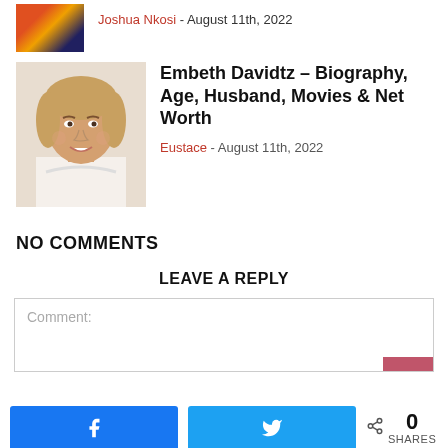[Figure (photo): Small thumbnail photo of a racing car]
Joshua Nkosi - August 11th, 2022
[Figure (photo): Portrait photo of Embeth Davidtz, a woman with curly brown-blonde hair smiling]
Embeth Davidtz – Biography, Age, Husband, Movies & Net Worth
Eustace - August 11th, 2022
NO COMMENTS
LEAVE A REPLY
Comment: